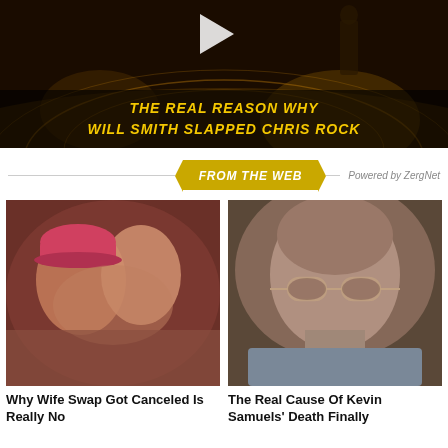[Figure (photo): Video thumbnail of Will Smith and Chris Rock incident at the Oscars, with play button overlay and bold yellow italic title text: THE REAL REASON WHY WILL SMITH SLAPPED CHRIS ROCK]
FROM THE WEB
Powered by ZergNet
[Figure (photo): Photo showing two people kissing, one wearing a red cap]
Why Wife Swap Got Canceled Is Really No
[Figure (photo): Portrait photo of Kevin Samuels wearing tinted aviator sunglasses]
The Real Cause Of Kevin Samuels' Death Finally